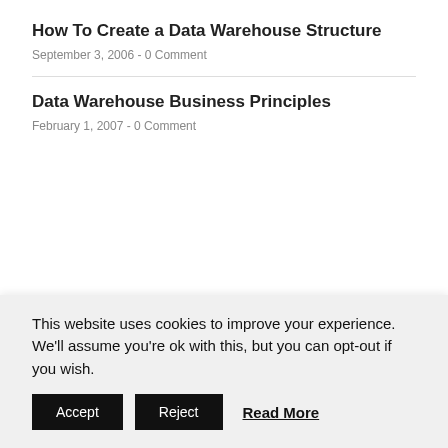How To Create a Data Warehouse Structure
September 3, 2006 - 0 Comment
Data Warehouse Business Principles
February 1, 2007 - 0 Comment
This website uses cookies to improve your experience. We'll assume you're ok with this, but you can opt-out if you wish.
Accept | Reject | Read More